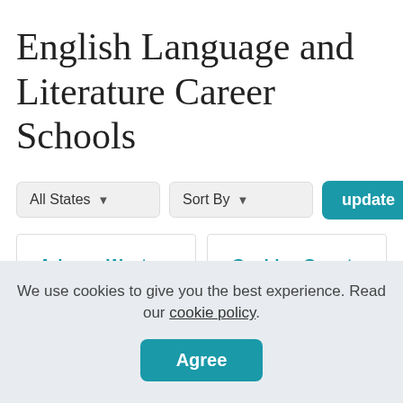English Language and Literature Career Schools
All States | Sort By | update
Arizona Western College
Cochise County Community College District
We use cookies to give you the best experience. Read our cookie policy.
Agree